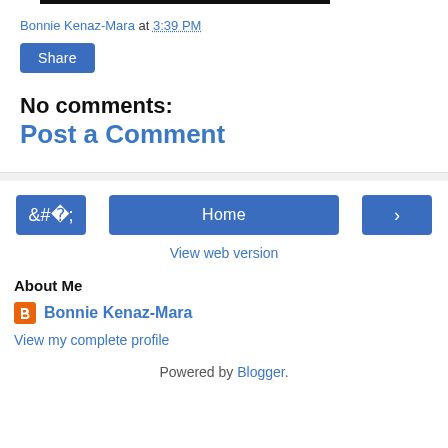[Figure (photo): Partial dark image at the top of the page (cropped)]
Bonnie Kenaz-Mara at 3:39 PM
Share
No comments:
Post a Comment
‹
Home
›
View web version
About Me
Bonnie Kenaz-Mara
View my complete profile
Powered by Blogger.